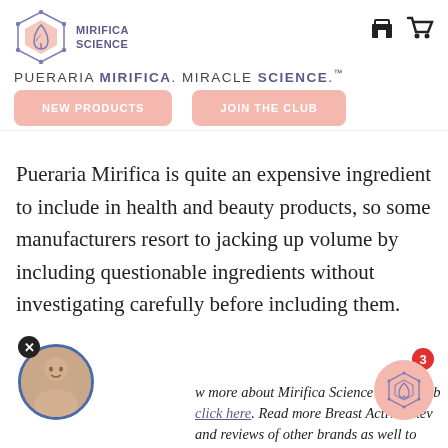[Figure (logo): Mirifica Science logo: hexagon with leaf icon, text 'MIRIFICA SCIENCE' beside it]
PUERARIA MIRIFICA. MIRACLE SCIENCE.™
[Figure (other): Navigation buttons: 'NEW PRODUCTS' and 'JOIN THE CLUB' in pink rounded rectangles]
Pueraria Mirifica is quite an expensive ingredient to include in health and beauty products, so some manufacturers resort to jacking up volume by including questionable ingredients without investigating carefully before including them.
more about Mirifica Science and their b click here. Read more Breast Actives Rev and reviews of other brands as well to guide you well